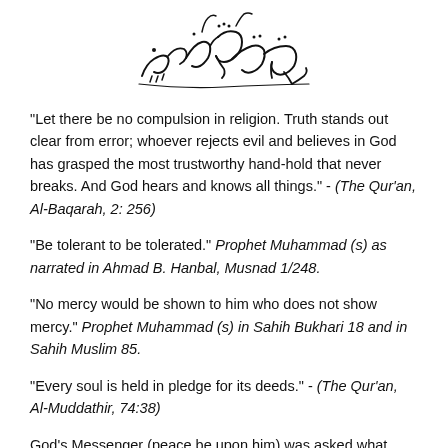[Figure (illustration): Basmala calligraphy in Arabic script: Bismillah ir-Rahman ir-Raheem]
"Let there be no compulsion in religion. Truth stands out clear from error; whoever rejects evil and believes in God has grasped the most trustworthy hand-hold that never breaks. And God hears and knows all things." - (The Qur'an, Al-Baqarah, 2: 256)
"Be tolerant to be tolerated." Prophet Muhammad (s) as narrated in Ahmad B. Hanbal, Musnad 1/248.
"No mercy would be shown to him who does not show mercy." Prophet Muhammad (s) in Sahih Bukhari 18 and in Sahih Muslim 85.
"Every soul is held in pledge for its deeds." - (The Qur'an, Al-Muddathir, 74:38)
God's Messenger (peace be upon him) was asked what type of earning